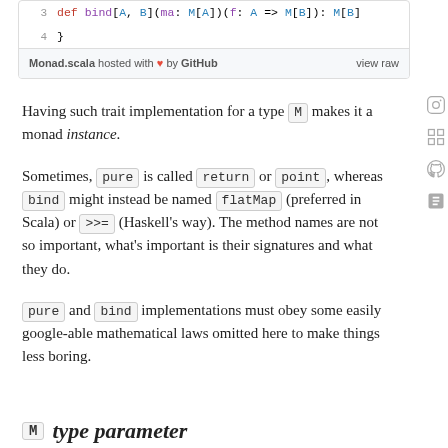[Figure (screenshot): Code snippet showing Scala Monad trait: line 3 'def bind[A, B](ma: M[A])(f: A => M[B]): M[B]', line 4 '}', with footer 'Monad.scala hosted with heart by GitHub' and 'view raw' link]
Having such trait implementation for a type M makes it a monad instance.
Sometimes, pure is called return or point, whereas bind might instead be named flatMap (preferred in Scala) or >>= (Haskell's way). The method names are not so important, what's important is their signatures and what they do.
pure and bind implementations must obey some easily google-able mathematical laws omitted here to make things less boring.
M type parameter